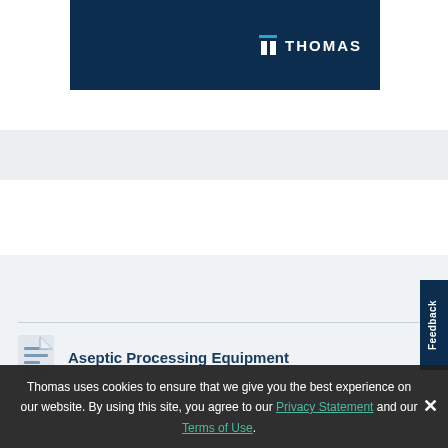[Figure (logo): Thomas logo on dark navy background banner]
White Papers & Case Studies
Aseptic Processing Equipment
Thomas uses cookies to ensure that we give you the best experience on our website. By using this site, you agree to our Privacy Statement and our Terms of Use.